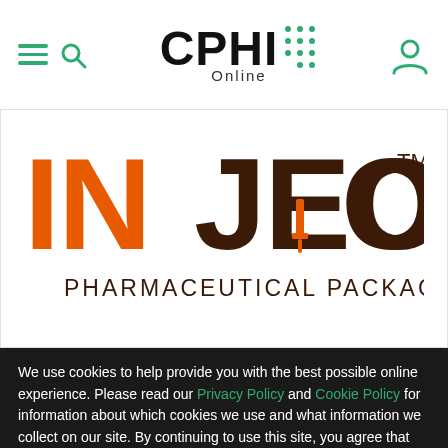CPHI Online — navigation bar with hamburger, search, CPHI Online logo, and user account icon
[Figure (logo): INJECTO Pharmaceutical Packaging logo — 'IN' in orange, 'JECTO' in dark brown with an orange syringe integrated into the letter T, 'PHARMACEUTICAL PACKAGING' in dark brown below, TM superscript]
We use cookies to help provide you with the best possible online experience. Please read our Privacy Policy and Cookie Policy for information about which cookies we use and what information we collect on our site. By continuing to use this site, you agree that we may store and access cookies on your device.
I Agree